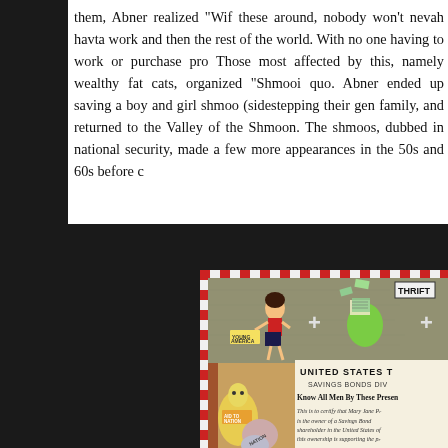them, Abner realized "Wif these around, nobody won't nevah havta work and then the rest of the world. With no one having to work or purchase pro Those most affected by this, namely wealthy fat cats, organized "Shmoo quo. Abner ended up saving a boy and girl shmoo (sidestepping their ge family, and returned to the Valley of the Shmoon. The shmoos, dubbed i national security, made a few more appearances in the 50s and 60s before
[Figure (illustration): A vintage illustration showing a United States Savings Bonds certificate with cartoon characters. Visible text includes 'UNITED STATES T', 'SAVINGS BONDS DIV', 'Know All Men By These Presen', 'This is to certify that Mary Jane Pr', 'is the owner of a Savings Bond', 'shareholder in the United States of', 'this ownership is supporting the p', 'security for the Nation and its peo'. Also shows a 'YOUNG AMERICA' cartoon character, a green shmoo holding papers near a 'THRIFT' sign, and other shmoo-like figures labeled 'AID TO NATION' and 'NATION'.]